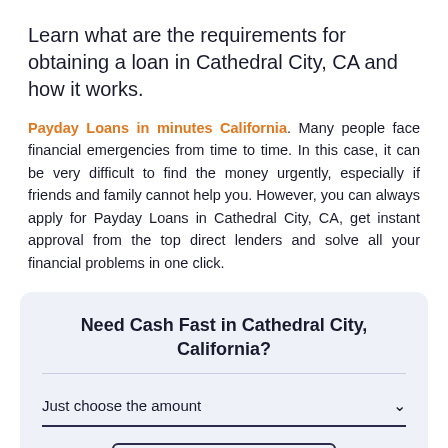Learn what are the requirements for obtaining a loan in Cathedral City, CA and how it works.
Payday Loans in minutes California. Many people face financial emergencies from time to time. In this case, it can be very difficult to find the money urgently, especially if friends and family cannot help you. However, you can always apply for Payday Loans in Cathedral City, CA, get instant approval from the top direct lenders and solve all your financial problems in one click.
Need Cash Fast in Cathedral City, California?
Just choose the amount